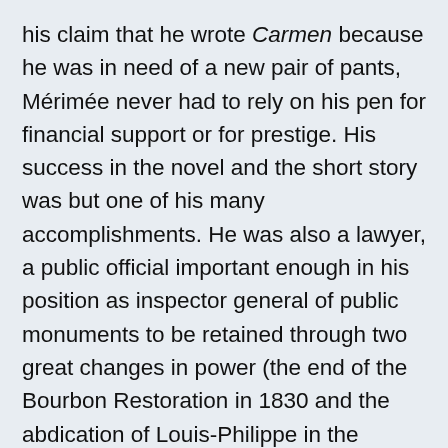his claim that he wrote Carmen because he was in need of a new pair of pants, Mérimée never had to rely on his pen for financial support or for prestige. His success in the novel and the short story was but one of his many accomplishments. He was also a lawyer, a public official important enough in his position as inspector general of public monuments to be retained through two great changes in power (the end of the Bourbon Restoration in 1830 and the abdication of Louis-Philippe in the revolution of 1848) and to be made a senator under Louis-Napoleon, a painter of some talent, a lover of some notoriety, an authority on Russian literature, a member of the French Academy, and a mentor and friend of the